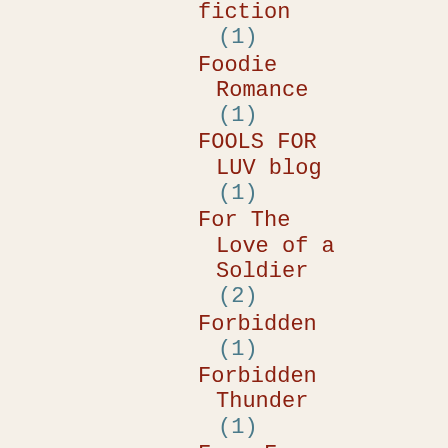fiction (1)
Foodie Romance (1)
FOOLS FOR LUV blog (1)
For The Love of a Soldier (2)
Forbidden (1)
Forbidden Thunder (1)
Four For